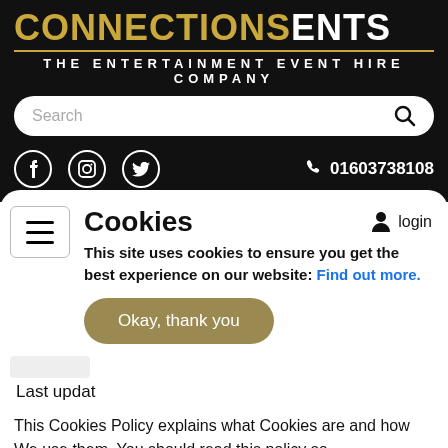[Figure (logo): ConnectionsEnts logo with gold text on black background, with tagline 'The Entertainment Event Hire Company']
[Figure (screenshot): Search bar with placeholder text 'Search' and magnifying glass icon]
[Figure (screenshot): Social media icons (Facebook, Instagram, Twitter) and phone number 01603738108]
Cookies
This site uses cookies to ensure you get the best experience on our website: Find out more.
Okay, thank you
Last updat
This Cookies Policy explains what Cookies are and how We use them. You should read this policy so